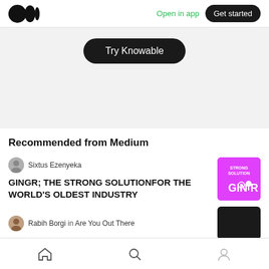Open in app  Get started
Try Knowable
Recommended from Medium
Sixtus Ezenyeka
GINGR; THE STRONG SOLUTIONFOR THE WORLD'S OLDEST INDUSTRY
[Figure (logo): Gingr app logo tile — pink background with 'STRONG SOLUTION' and 'GIN R' text with pin icon]
Rabih Borgi in Are You Out There
[Figure (photo): Dark thumbnail image for second article]
Home  Search  Profile